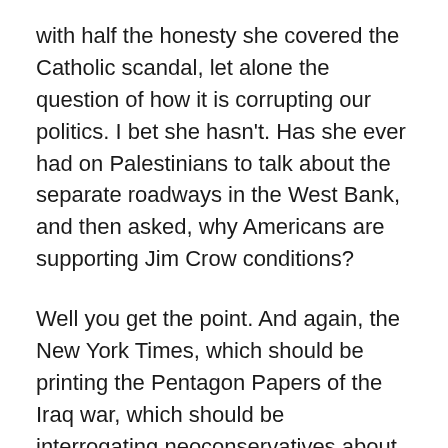with half the honesty she covered the Catholic scandal, let alone the question of how it is corrupting our politics. I bet she hasn't. Has she ever had on Palestinians to talk about the separate roadways in the West Bank, and then asked, why Americans are supporting Jim Crow conditions?
Well you get the point. And again, the New York Times, which should be printing the Pentagon Papers of the Iraq war, which should be interrogating neoconservatives about their crazy theory that invading Baghdad would take the Arabs' minds off Israel/Palestine, which should be asking John Mearsheimer what his evidence is that oil had nothing to do with the disastrous decision to go to war, which should be telling readers why Sheldon Adelson and Haim Saban give so much money to the political parties, and asking whether Adelson's $300,000 gift in 2000 had